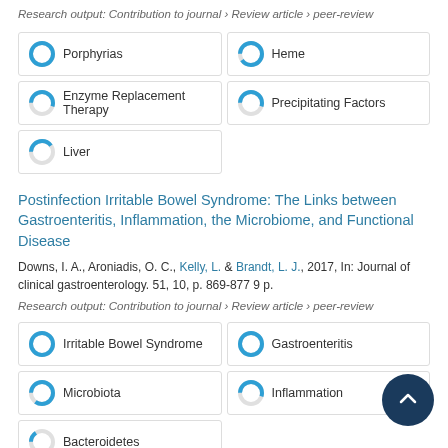Research output: Contribution to journal › Review article › peer-review
[Figure (infographic): Keyword badges with donut chart indicators: Porphyrias (100%), Heme (90%), Enzyme Replacement Therapy (55%), Precipitating Factors (55%), Liver (40%)]
Postinfection Irritable Bowel Syndrome: The Links between Gastroenteritis, Inflammation, the Microbiome, and Functional Disease
Downs, I. A., Aroniadis, O. C., Kelly, L. & Brandt, L. J., 2017, In: Journal of clinical gastroenterology. 51, 10, p. 869-877 9 p.
Research output: Contribution to journal › Review article › peer-review
[Figure (infographic): Keyword badges with donut chart indicators: Irritable Bowel Syndrome (100%), Gastroenteritis (100%), Microbiota (85%), Inflammation (55%), Bacteroidetes (15%)]